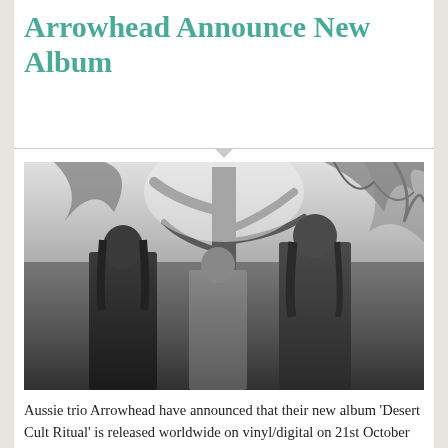Arrowhead Announce New Album
[Figure (photo): Black and white photo taken from a low angle showing three members of the band Arrowhead standing outdoors beneath a large tree with a bright sky in the background.]
Aussie trio Arrowhead have announced that their new album 'Desert Cult Ritual' is released worldwide on vinyl/digital on 21st October and